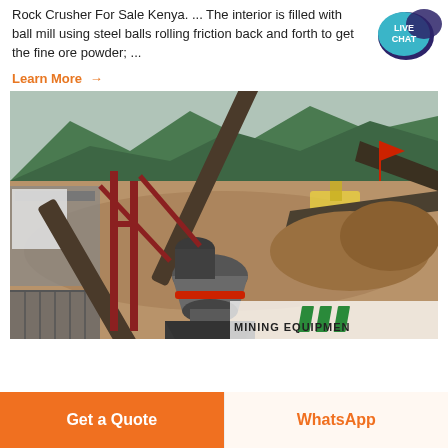Rock Crusher For Sale Kenya. ... The interior is filled with ball mill using steel balls rolling friction back and forth to get the fine ore powder; ...
Learn More →
[Figure (photo): Aerial view of a rock crushing and mining equipment facility with conveyor belts, a cone crusher, and heavy machinery set against a mountainous forested background. A 'MINING EQUIPMENT' watermark/logo is visible in the bottom right corner.]
Get a Quote
WhatsApp